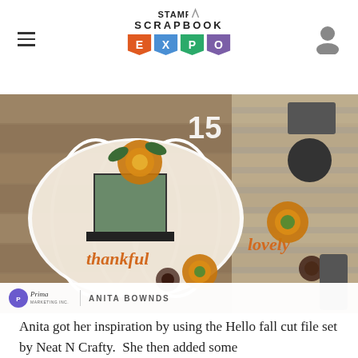STAMP · SCRAPBOOK EXPO
[Figure (photo): Scrapbook layout featuring fall-themed pumpkin cut file with flowers, autumn paper, and 'thankful' and 'lovely' word embellishments. Credit: Prima Marketing Inc. / ANITA BOWNDS]
ANITA BOWNDS
Anita got her inspiration by using the Hello fall cut file set by Neat N Crafty.  She then added some